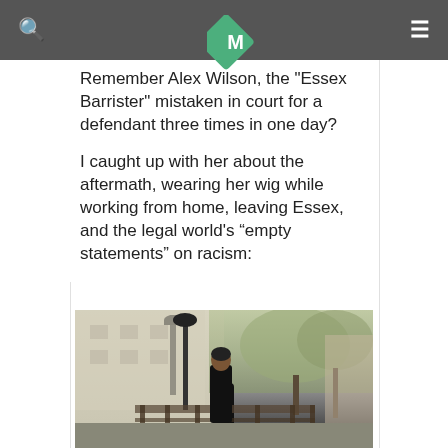@Anoosh_C · Follow
Remember Alex Wilson, the "Essex Barrister" mistaken in court for a defendant three times in one day?
I caught up with her about the aftermath, wearing her wig while working from home, leaving Essex, and the legal world's “empty statements” on racism:
[Figure (photo): Woman in black outfit standing in front of historic buildings with trees, street lamp nearby]